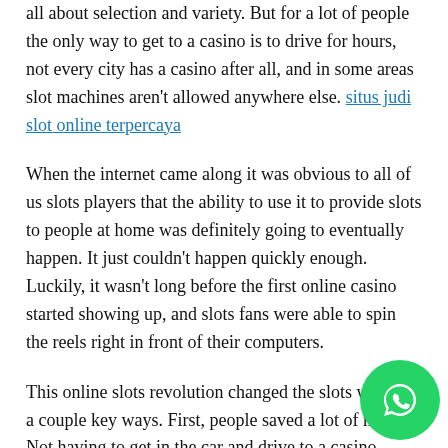all about selection and variety. But for a lot of people the only way to get to a casino is to drive for hours, not every city has a casino after all, and in some areas slot machines aren't allowed anywhere else. situs judi slot online terpercaya
When the internet came along it was obvious to all of us slots players that the ability to use it to provide slots to people at home was definitely going to eventually happen. It just couldn't happen quickly enough. Luckily, it wasn't long before the first online casino started showing up, and slots fans were able to spin the reels right in front of their computers.
This online slots revolution changed the slots world in a couple key ways. First, people saved a lot of money. Not having to get in the car and drive to a casino meant that slots players didn't have to spend money on gas. What's more players didn't have to spend money on casino food. The that slots goers were able to save from driving and
[Figure (logo): WhatsApp green circular button with white phone icon in the bottom-right corner]